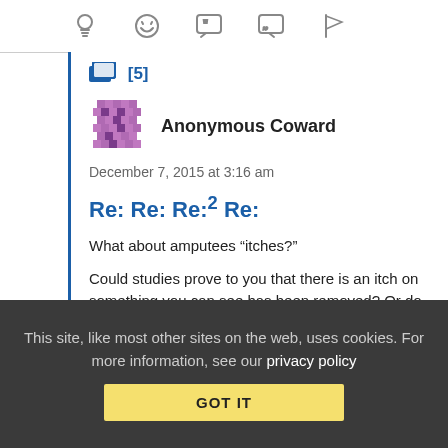[Figure (screenshot): Top icon bar with lightbulb, emoji/smile, speech bubble quote, speech bubble with quotation mark, and flag icons in gray]
[5]
[Figure (illustration): Anonymous user avatar — purple/pink pixel pattern square icon]
Anonymous Coward
December 7, 2015 at 3:16 am
Re: Re: Re:² Re:
What about amputees “itches?”
Could studies prove to you that there is an itch on something you can see has been removed? Or do you just point and laugh?
This site, like most other sites on the web, uses cookies. For more information, see our privacy policy
GOT IT